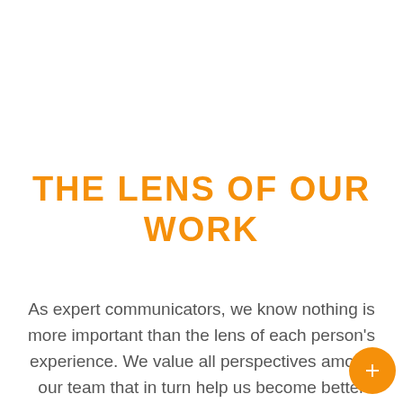THE LENS OF OUR WORK
As expert communicators, we know nothing is more important than the lens of each person's experience. We value all perspectives among our team that in turn help us become better connected to the many backgrounds of those we